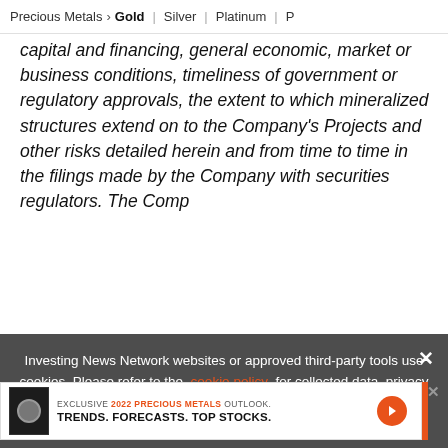Precious Metals > Gold | Silver | Platinum | P
capital and financing, general economic, market or business conditions, timeliness of government or regulatory approvals, the extent to which mineralized structures extend on to the Company's Projects and other risks detailed herein and from time to time in the filings made by the Company with securities regulators. The Comp
[Figure (infographic): Promotional banner: EXCLUSIVE 2022 PRECIOUS METALS OUTLOOK. TRENDS. FORECASTS. TOP STOCKS. With orange arrow button and orange vertical bar.]
Investing News Network websites or approved third-party tools use cookies. Please refer to the cookie policy for collected data, privacy and GDPR compliance. By continuing to browse the site, you agree to our use of cookies.